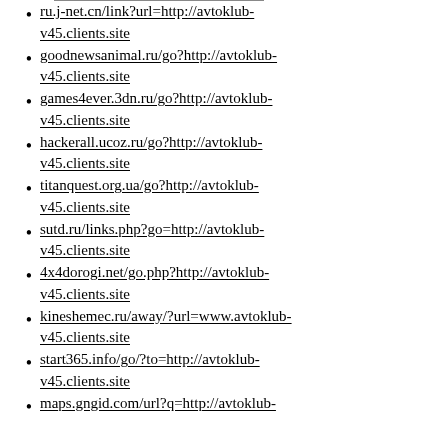ru.j-net.cn/link?url=http://avtoklub-v45.clients.site
goodnewsanimal.ru/go?http://avtoklub-v45.clients.site
games4ever.3dn.ru/go?http://avtoklub-v45.clients.site
hackerall.ucoz.ru/go?http://avtoklub-v45.clients.site
titanquest.org.ua/go?http://avtoklub-v45.clients.site
sutd.ru/links.php?go=http://avtoklub-v45.clients.site
4x4dorogi.net/go.php?http://avtoklub-v45.clients.site
kineshemec.ru/away/?url=www.avtoklub-v45.clients.site
start365.info/go/?to=http://avtoklub-v45.clients.site
maps.gngid.com/url?q=http://avtoklub-